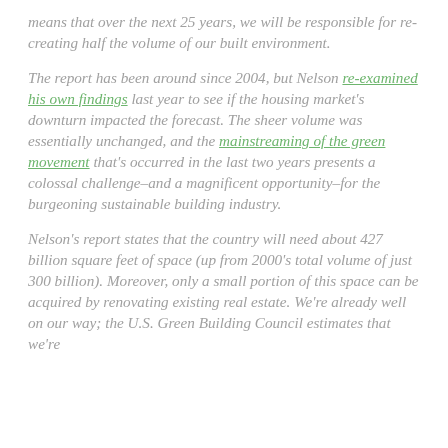means that over the next 25 years, we will be responsible for re-creating half the volume of our built environment.
The report has been around since 2004, but Nelson re-examined his own findings last year to see if the housing market's downturn impacted the forecast. The sheer volume was essentially unchanged, and the mainstreaming of the green movement that's occurred in the last two years presents a colossal challenge–and a magnificent opportunity–for the burgeoning sustainable building industry.
Nelson's report states that the country will need about 427 billion square feet of space (up from 2000's total volume of just 300 billion). Moreover, only a small portion of this space can be acquired by renovating existing real estate. We're already well on our way; the U.S. Green Building Council estimates that we're